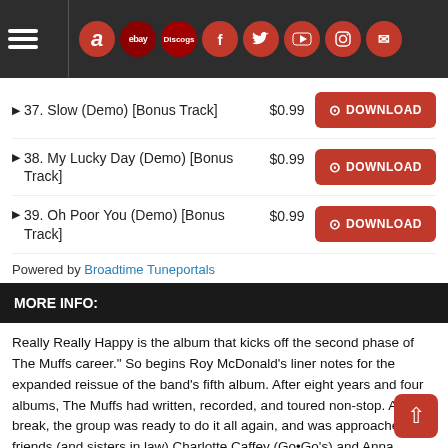Navigation and social media icon bar
37. Slow (Demo) [Bonus Track] $0.99 DOWNLOAD
38. My Lucky Day (Demo) [Bonus Track] $0.99 DOWNLOAD
39. Oh Poor You (Demo) [Bonus Track] $0.99 DOWNLOAD
Powered by Broadtime Tuneportals
MORE INFO:
Really Really Happy is the album that kicks off the second phase of The Muffs career." So begins Roy McDonald's liner notes for the expanded reissue of the band's fifth album. After eight years and four albums, The Muffs had written, recorded, and toured non-stop. After a break, the group was ready to do it all again, and was approached by friends (and sisters in law) Charlotte Caffey (Go•Go's) and Anna Waronka (that dog), who had just started their own label – Five Foot Two Records. McDonald, bassist Ronnie Barnett, and singer/guitarist/songwriter Kim